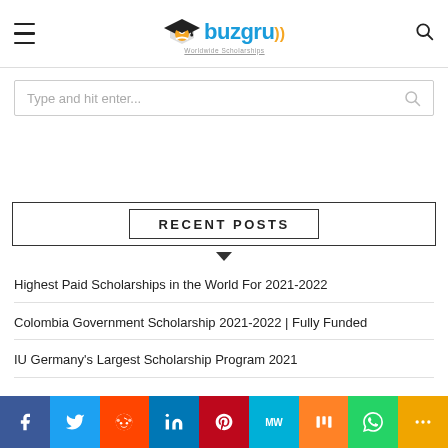buzgru – Worldwide Scholarships
Type and hit enter...
RECENT POSTS
Highest Paid Scholarships in the World For 2021-2022
Colombia Government Scholarship 2021-2022 | Fully Funded
IU Germany's Largest Scholarship Program 2021